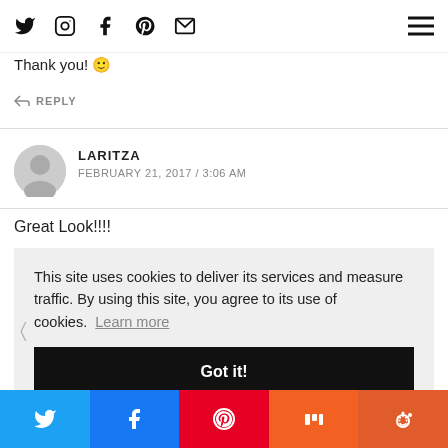Social media icons navigation bar with hamburger menu
Thank you! 🙂
↩ REPLY
LARITZA
FEBRUARY 21, 2017 / 3:06 AM
Great Look!!!!
This site uses cookies to deliver its services and measure traffic. By using this site, you agree to its use of cookies. Learn more
Got it!
Share buttons: Twitter, Facebook, Pinterest, Mix, Reddit